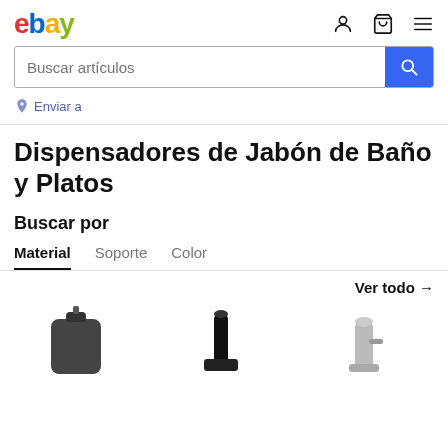[Figure (logo): eBay logo in red, blue, yellow, and green]
Buscar artículos
Enviar a
Dispensadores de Jabón de Baño y Platos
Buscar por
Material   Soporte   Color
Ver todo →
[Figure (photo): Three soap dispenser product images partially visible at the bottom]